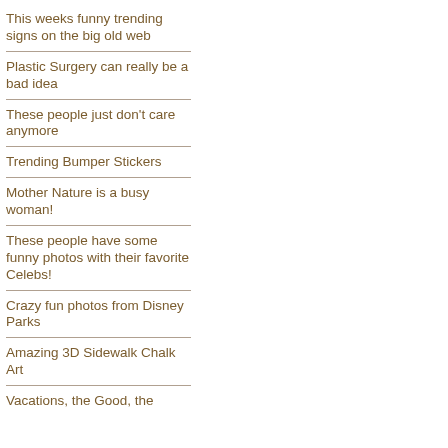This weeks funny trending signs on the big old web
Plastic Surgery can really be a bad idea
These people just don't care anymore
Trending Bumper Stickers
Mother Nature is a busy woman!
These people have some funny photos with their favorite Celebs!
Crazy fun photos from Disney Parks
Amazing 3D Sidewalk Chalk Art
Vacations, the Good, the